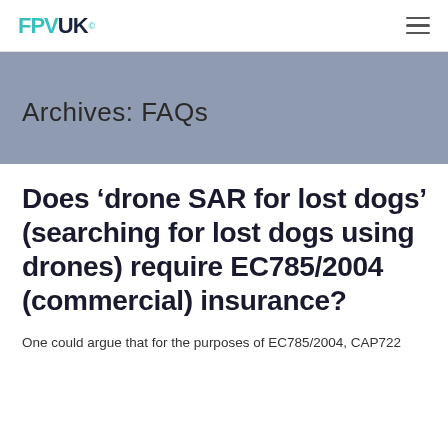FPVUK
Archives: FAQs
Does ‘drone SAR for lost dogs’ (searching for lost dogs using drones) require EC785/2004 (commercial) insurance?
One could argue that for the purposes of EC785/2004, CAP722 defines the activities of the ‘commercial’ category as...